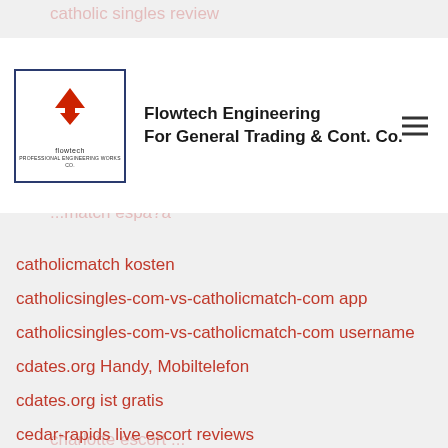Flowtech Engineering For General Trading & Cont. Co.
catholicmatch kosten
catholicsingles-com-vs-catholicmatch-com app
catholicsingles-com-vs-catholicmatch-com username
cdates.org Handy, Mobiltelefon
cdates.org ist gratis
cedar-rapids live escort reviews
centennial escort service
chandler escort
Chappy reviews
charlotte eros escort
charlotte escort